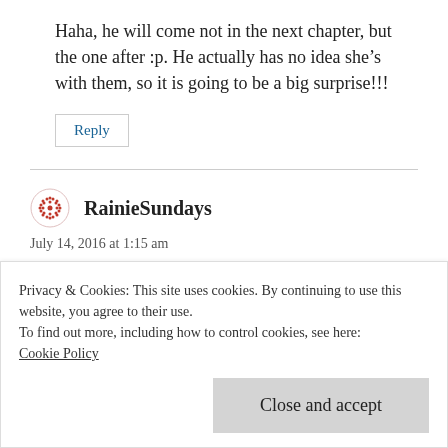Haha, he will come not in the next chapter, but the one after :p. He actually has no idea she’s with them, so it is going to be a big surprise!!!
Reply
RainieSundays
July 14, 2016 at 1:15 am
Privacy & Cookies: This site uses cookies. By continuing to use this website, you agree to their use.
To find out more, including how to control cookies, see here:
Cookie Policy
Close and accept